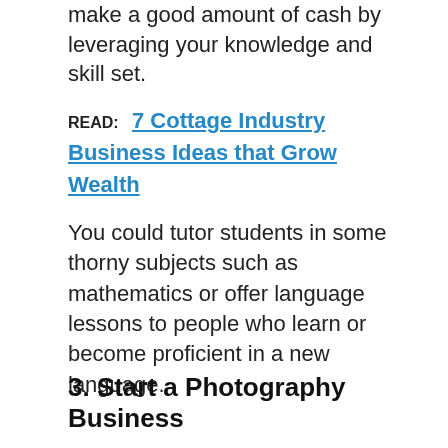make a good amount of cash by leveraging your knowledge and skill set.
READ:   7 Cottage Industry Business Ideas that Grow Wealth
You could tutor students in some thorny subjects such as mathematics or offer language lessons to people who learn or become proficient in a new language.
3. Start a Photography Business